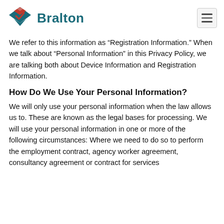Bralton
We refer to this information as “Registration Information.” When we talk about “Personal Information” in this Privacy Policy, we are talking both about Device Information and Registration Information.
How Do We Use Your Personal Information?
We will only use your personal information when the law allows us to. These are known as the legal bases for processing. We will use your personal information in one or more of the following circumstances: Where we need to do so to perform the employment contract, agency worker agreement, consultancy agreement or contract for services